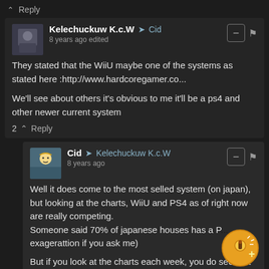^ Reply
Kelechuckuw K.c.W → Cid
8 years ago edited

They stated that the WiiU maybe one of the systems as stated here :http://www.hardcoregamer.co...

We'll see about others it's obvious to me it'll be a ps4 and other newer current system
2 ^ Reply
Cid → Kelechuckuw K.c.W
8 years ago

Well it does come to the most selled system (on japan), but looking at the charts, WiiU and PS4 as of right now are really competing.
Someone said 70% of japanese houses has a P... exagerattion if you ask me)

But if you look at the charts each week, you do see that Nintendo WiiU is being sold more and more each week over there, so its hard to determinate to which console it